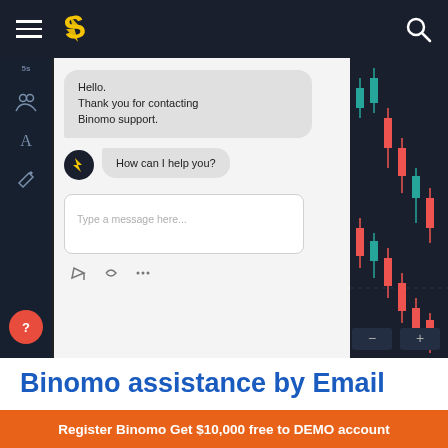Binomo navigation bar with logo and search
[Figure (screenshot): Screenshot of Binomo trading platform showing a live chat support window with message 'Hello. Thank you for contacting Binomo support. How can I help you?' and a type-a-message input box, alongside a candlestick chart on the right side.]
Binomo assistance by Email
Another way to contact support by e-mail. So if
Register Binomo Get $10,000 free to DEMO account